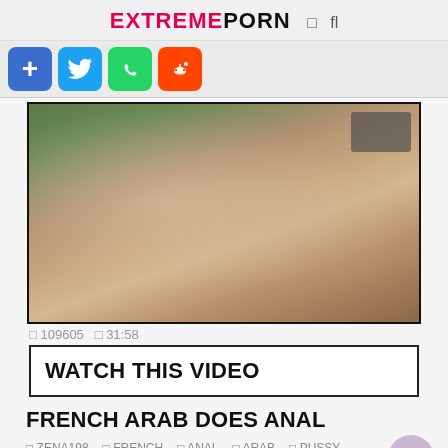EXTREMEPORN
[Figure (screenshot): Social share buttons: add (+), Twitter, WhatsApp, Reddit]
[Figure (photo): Video thumbnail showing adult content]
109605  31:58
WATCH THIS VIDEO
FRENCH ARAB DOES ANAL
ZENA198  FRENCH  ANAL  ARAB  PUSSY
ARAB ANAL  ARABE  ARABIC  ARABIC ANAL  CUCKING